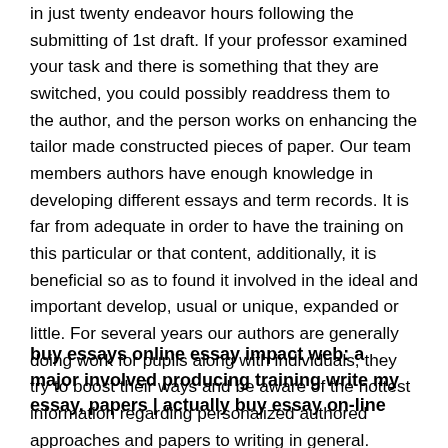in just twenty endeavor hours following the submitting of 1st draft. If your professor examined your task and there is something that they are switched, you could possibly readdress them to the author, and the person works on enhancing the tailor made constructed pieces of paper. Our team members authors have enough knowledge in developing different essays and term records. It is far from adequate in order to have the training on this particular or that content, additionally, it is beneficial so as to found it involved in the ideal and important develop, usual or unique, expanded or little. For several years our authors are generally doing work for pupils along with individuals, they try to boost their ways and be aware of the hottest information regarding personalized authored approaches and papers to writing in general.
buy essays online essay impact web: a major involved producing training write my essay, papers | actually buy essay on-line